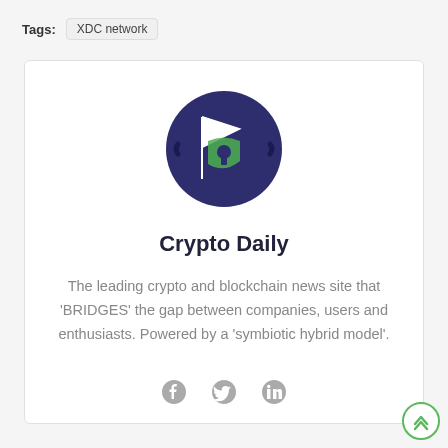Tags: XDC network
[Figure (logo): Crypto Daily logo: circular dark navy background with a white flag and green shield with keyhole icon]
Crypto Daily
The leading crypto and blockchain news site that 'BRIDGES' the gap between companies, users and enthusiasts. Powered by a 'symbiotic hybrid model'.
[Figure (other): Social media icons: Facebook, Twitter, LinkedIn in gray]